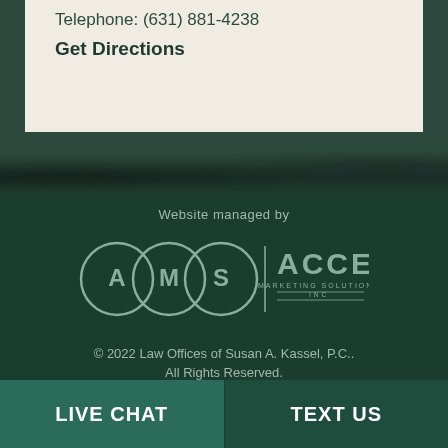Telephone: (631) 881-4238
Get Directions
[Figure (logo): AMS | ACCEL Marketing Solutions Inc. logo in white/grey on dark green background]
Website managed by
© 2022 Law Offices of Susan A. Kassel, P.C.. All Rights Reserved.
LIVE CHAT
TEXT US